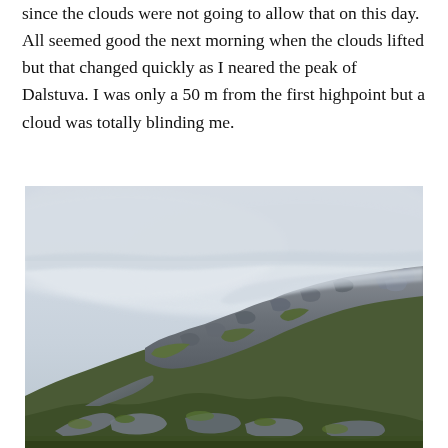since the clouds were not going to allow that on this day. All seemed good the next morning when the clouds lifted but that changed quickly as I neared the peak of Dalstuva. I was only a 50 m from the first highpoint but a cloud was totally blinding me.
[Figure (photo): A rocky mountain ridge with moss and lichen-covered rocks in the foreground. The ridge rises to a peak partially obscured by low cloud and fog. The sky is overcast and misty, blending with the clouds at the summit. The scene depicts the cloud-covered peak of Dalstuva.]